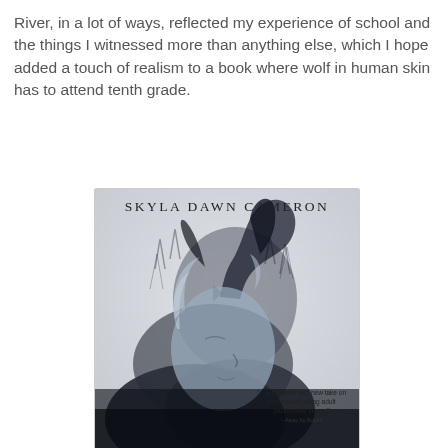River, in a lot of ways, reflected my experience of school and the things I witnessed more than anything else, which I hope added a touch of realism to a book where wolf in human skin has to attend tenth grade.
[Figure (illustration): Book cover for a novel by Skyla Dawn Cameron. Features a double-exposure artistic image combining a young woman's profile face (light blue/grey tones) with a howling wolf silhouette. Author name 'SKYLA DAWN CAMERON' appears at the top in spaced serif lettering. A quote at the bottom right reads: '...a powerful and new take on your typical young adult paranormal story...' attributed to 'Away by Books'.]